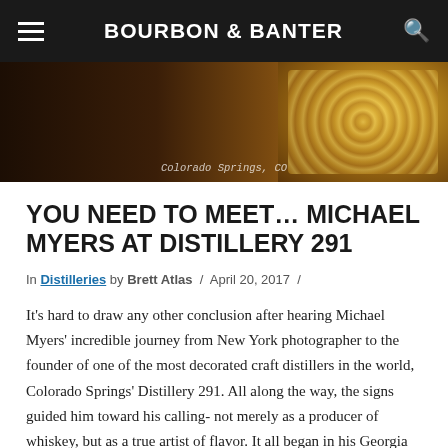BOURBON & BANTER
[Figure (photo): Hero image showing distillery elements including corn kernels and dark background with 'Colorado Springs, CO' watermark text]
YOU NEED TO MEET… MICHAEL MYERS AT DISTILLERY 291
In Distilleries by Brett Atlas / April 20, 2017 /
It's hard to draw any other conclusion after hearing Michael Myers' incredible journey from New York photographer to the founder of one of the most decorated craft distillers in the world, Colorado Springs' Distillery 291. All along the way, the signs guided him toward his calling- not merely as a producer of whiskey, but as a true artist of flavor. It all began in his Georgia dorm room at Savannah College of Art and Design, where he studied photography. While sipping on the Jack Daniel's that was distilled just miles from his childhood